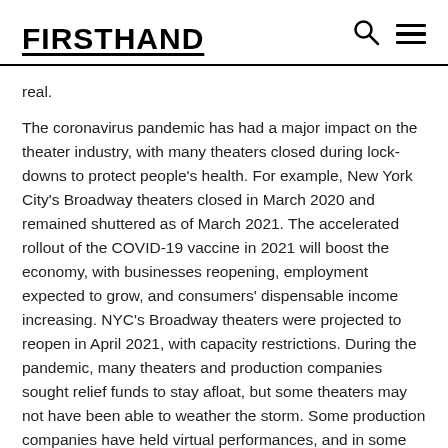FIRSTHAND
real.
The coronavirus pandemic has had a major impact on the theater industry, with many theaters closed during lockdowns to protect people's health. For example, New York City's Broadway theaters closed in March 2020 and remained shuttered as of March 2021. The accelerated rollout of the COVID-19 vaccine in 2021 will boost the economy, with businesses reopening, employment expected to grow, and consumers' dispensable income increasing. NYC's Broadway theaters were projected to reopen in April 2021, with capacity restrictions. During the pandemic, many theaters and production companies sought relief funds to stay afloat, but some theaters may not have been able to weather the storm. Some production companies have held virtual performances, and in some cases outdoor performances, as a way to attract audiences and increase their finances. According to a Variety article, many theaters have explored a